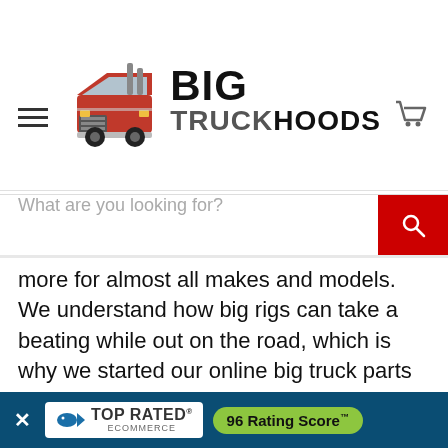[Figure (logo): Big Truck Hoods logo with red semi truck illustration and bold text BIG TRUCKHOODS]
What are you looking for?
more for almost all makes and models. We understand how big rigs can take a beating while out on the road, which is why we started our online big truck parts store. Our site is easy to navigate with clear product descriptions. If you are looking for the best new and used semi truck parts, such as for International, shop Big Truck Hoods and all of our… online today!
[Figure (infographic): TOP RATED ECOMMERCE badge with 96 Rating Score™ on dark blue banner with X close button]